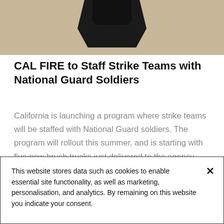[Figure (photo): Partial photo of military/fire vehicle or equipment on sandy/dusty ground, mostly cropped at top]
CAL FIRE to Staff Strike Teams with National Guard Soldiers
California is launching a program where strike teams will be staffed with National Guard soldiers. The program will rollout this summer, and is starting with five new brush trucks just delivered to the agency. Four man teams of National Guard soldiers are now being...
This website stores data such as cookies to enable essential site functionality, as well as marketing, personalisation, and analytics. By remaining on this website you indicate your consent.